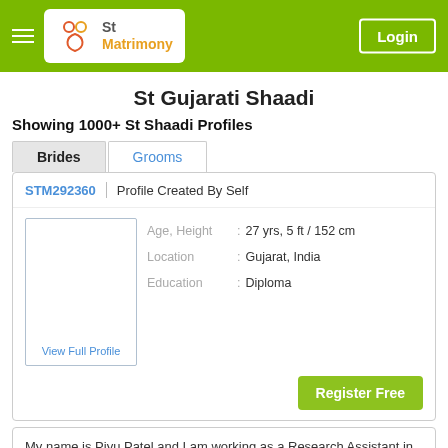St Matrimony — Login
St Gujarati Shaadi
Showing 1000+ St Shaadi Profiles
Brides | Grooms
STM292360 | Profile Created By Self
Age, Height : 27 yrs, 5 ft / 152 cm
Location : Gujarat, India
Education : Diploma
View Full Profile
Register Free
My name is Piyu Patel and I am working as a Research Assistant in the Private sector. I have complet... more